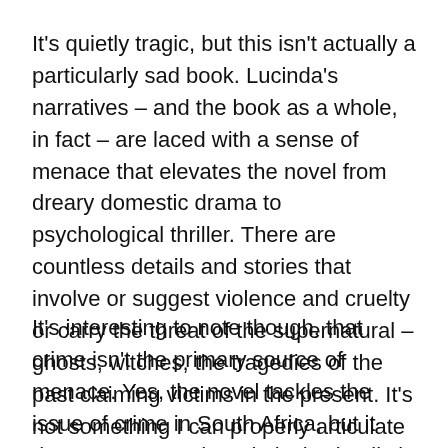It's quietly tragic, but this isn't actually a particularly sad book. Lucinda's narratives – and the book as a whole, in fact – are laced with a sense of menace that elevates the novel from dreary domestic drama to psychological thriller. There are countless details and stories that involve or suggest violence and cruelty or carry the threat of the supernatural – ghosts, witches, the tragedies of the past claiming victims in the present. It's not something I can properly articulate in the space of a review – the effect is subtle and cumulative, so a few quotes won't really convey the unsettling tone of the whole.
It's interesting to note though, that crime isn't the primary source of menace. Yes, the novel tackles the issue of crime in South Africa, but it doesn't resort to the relatively simplistic depiction of fearful citizens preyed upon by vile